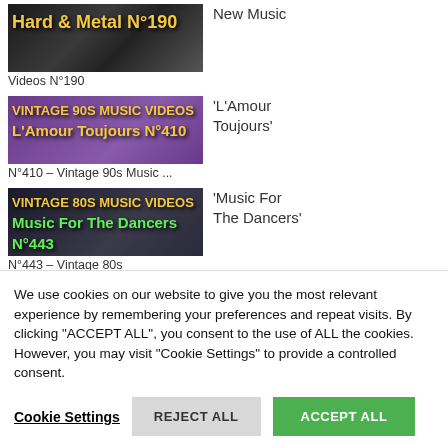[Figure (screenshot): Thumbnail image for Hard & Metal N°190 video]
New Music
Videos N°190
[Figure (screenshot): Thumbnail for L'Amour Toujours N°410 – Vintage 90s Music Videos]
'L'Amour Toujours'
N°410 – Vintage 90s Music ...
[Figure (screenshot): Thumbnail for Music For The Dancers N°443 – Vintage 80s Music Videos]
'Music For The Dancers'
N°443 – Vintage 80s
We use cookies on our website to give you the most relevant experience by remembering your preferences and repeat visits. By clicking "ACCEPT ALL", you consent to the use of ALL the cookies. However, you may visit "Cookie Settings" to provide a controlled consent.
Cookie Settings
REJECT ALL
ACCEPT ALL